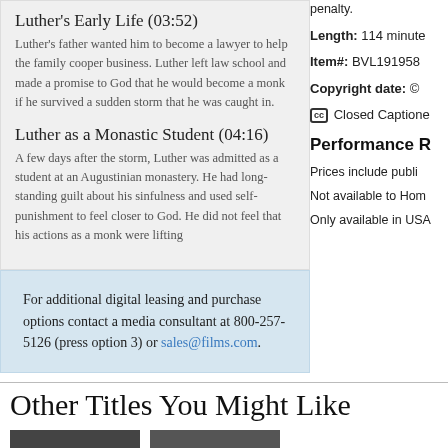Luther's Early Life (03:52)
Luther's father wanted him to become a lawyer to help the family cooper business. Luther left law school and made a promise to God that he would become a monk if he survived a sudden storm that he was caught in.
Luther as a Monastic Student (04:16)
A few days after the storm, Luther was admitted as a student at an Augustinian monastery. He had long-standing guilt about his sinfulness and used self-punishment to feel closer to God. He did not feel that his actions as a monk were lifting
For additional digital leasing and purchase options contact a media consultant at 800-257-5126 (press option 3) or sales@films.com.
penalty.
Length: 114 minute
Item#: BVL191958
Copyright date: ©
Closed Captione
Performance R
Prices include publi
Not available to Hom
Only available in USA
Other Titles You Might Like